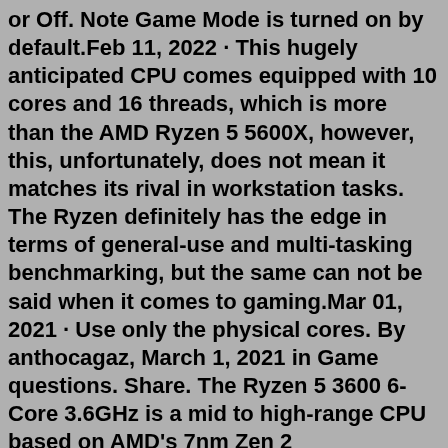or Off. Note Game Mode is turned on by default.Feb 11, 2022 · This hugely anticipated CPU comes equipped with 10 cores and 16 threads, which is more than the AMD Ryzen 5 5600X, however, this, unfortunately, does not mean it matches its rival in workstation tasks. The Ryzen definitely has the edge in terms of general-use and multi-tasking benchmarking, but the same can not be said when it comes to gaming.Mar 01, 2021 · Use only the physical cores. By anthocagaz, March 1, 2021 in Game questions. Share. The Ryzen 5 3600 6-Core 3.6GHz is a mid to high-range CPU based on AMD's 7nm Zen 2 microarchitecture. It offers 6 physical cores (12 logical), initially clocked at 3.6GHz, which may go up to 4.2 ...Jul 04, 2021 · Open up a windows explorer window. Navigate to where you installed Escape From Tarkov. This is usually in your program files. From there right click BsgLauncher -> Compatibility Settings ->. Under Settings ensure the ' Override high DPI scaling behaviour ' checkbox is checked and ' disable full screen optimisations ' is checked. We use